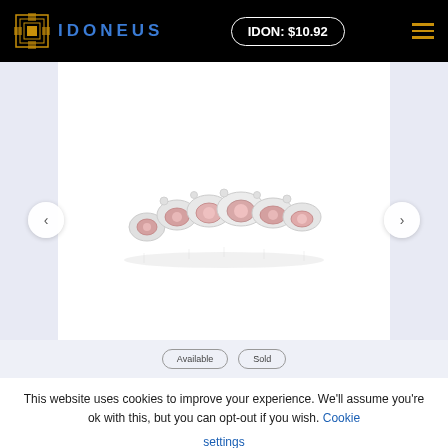IDONEUS — IDON: $10.92
[Figure (photo): A diamond and pink gemstone bracelet displayed on a white background, with navigation arrows on left and right sides and light blue side panels.]
This website uses cookies to improve your experience. We'll assume you're ok with this, but you can opt-out if you wish. Cookie settings
ACCEPT